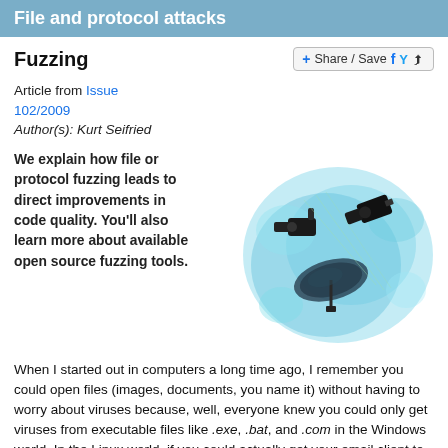File and protocol attacks
Fuzzing
Article from Issue 102/2009
Author(s): Kurt Seifried
We explain how file or protocol fuzzing leads to direct improvements in code quality. You'll also learn more about available open source fuzzing tools.
[Figure (illustration): Abstract blue-toned illustration showing surveillance cameras and satellite dish against a splash of blue watercolor-style background]
When I started out in computers a long time ago, I remember you could open files (images, documents, you name it) without having to worry about viruses because, well, everyone knew you could only get viruses from executable files like .exe, .bat, and .com in the Windows world. In the Linux world, if you could actually get your email client to run an executable attached to an email automatically, you probably had the good sense not to...